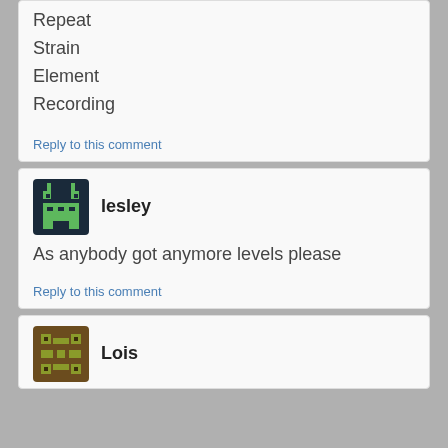Repeat
Strain
Element
Recording
Reply to this comment
lesley
As anybody got anymore levels please
Reply to this comment
Lois